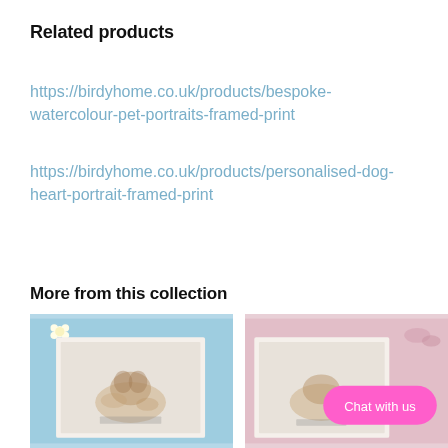Related products
https://birdyhome.co.uk/products/bespoke-watercolour-pet-portraits-framed-print
https://birdyhome.co.uk/products/personalised-dog-heart-portrait-framed-print
More from this collection
[Figure (photo): A framed watercolour pet portrait print on a blue background with a small white flower]
[Figure (photo): A framed print on a pink background with flowers and a pink 'Chat with us' button overlay]